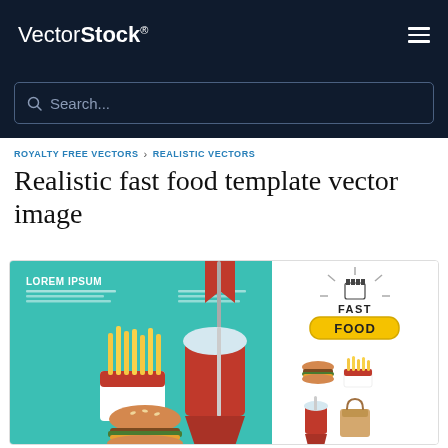VectorStock®
Search...
ROYALTY FREE VECTORS › REALISTIC VECTORS
Realistic fast food template vector image
[Figure (illustration): Realistic fast food template vector image showing a teal background with french fries, burger, red soda cup with straw and red flag banner on the left side, and a Fast Food logo with yellow badge and icons of burger, fries, drinks, and bag on the right side.]